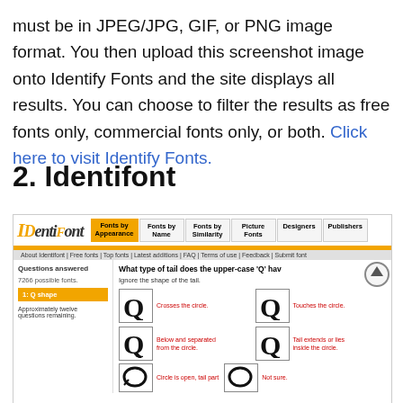must be in JPEG/JPG, GIF, or PNG image format. You then upload this screenshot image onto Identify Fonts and the site displays all results. You can choose to filter the results as free fonts only, commercial fonts only, or both. Click here to visit Identify Fonts.
2. Identifont
[Figure (screenshot): Screenshot of Identifont website showing the font identification interface with navigation bar, a question about the upper-case Q tail shape, and four answer choices with Q letter images labeled: Crosses the circle, Touches the circle, Below and separated from the circle, Tail extends or lies inside the circle, and partial views of two more options.]